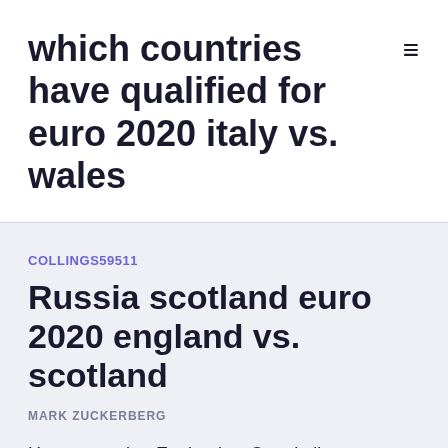which countries have qualified for euro 2020 italy vs. wales
COLLINGS59511
Russia scotland euro 2020 england vs. scotland
MARK ZUCKERBERG
How to watch a England vs Croatia live stream wherever you are in the world. Where to watch, team